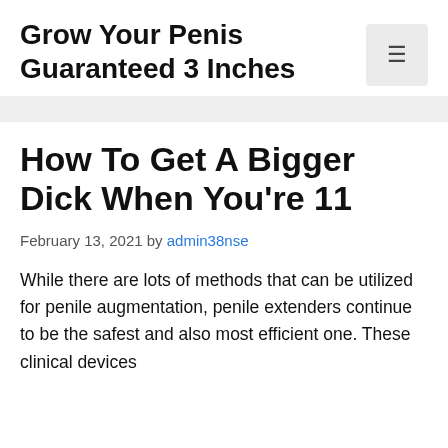Grow Your Penis Guaranteed 3 Inches
How To Get A Bigger Dick When You're 11
February 13, 2021 by admin38nse
While there are lots of methods that can be utilized for penile augmentation, penile extenders continue to be the safest and also most efficient one. These clinical devices